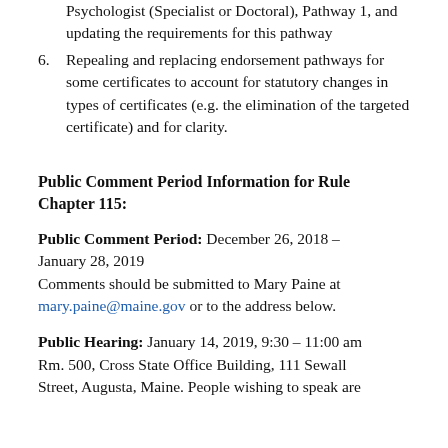Psychologist (Specialist or Doctoral), Pathway 1, and updating the requirements for this pathway
6. Repealing and replacing endorsement pathways for some certificates to account for statutory changes in types of certificates (e.g. the elimination of the targeted certificate) and for clarity.
Public Comment Period Information for Rule Chapter 115:
Public Comment Period: December 26, 2018 – January 28, 2019
Comments should be submitted to Mary Paine at mary.paine@maine.gov or to the address below.
Public Hearing: January 14, 2019, 9:30 – 11:00 am Rm. 500, Cross State Office Building, 111 Sewall Street, Augusta, Maine. People wishing to speak are